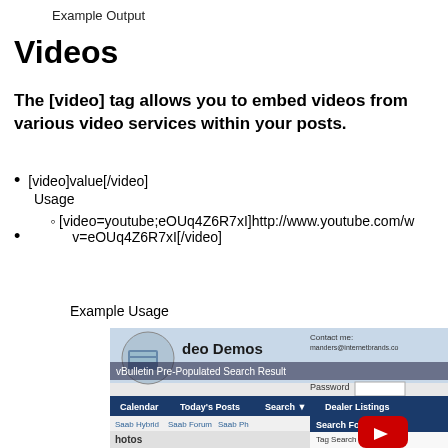Example Output
Videos
The [video] tag allows you to embed videos from various video services within your posts.
[video]value[/video]
Usage
[video=youtube;eOUq4Z6R7xI]http://www.youtube.com/v=eOUq4Z6R7xI[/video]
Example Usage
[Figure (screenshot): Screenshot of a vBulletin forum page showing Video Demos, search interface with Calendar, Today's Posts, Search, Dealer Listings navigation, Saab forum links, Search Forums dropdown with Tag Search, Advanced Search, and air intake search results. A YouTube play button overlay is visible.]